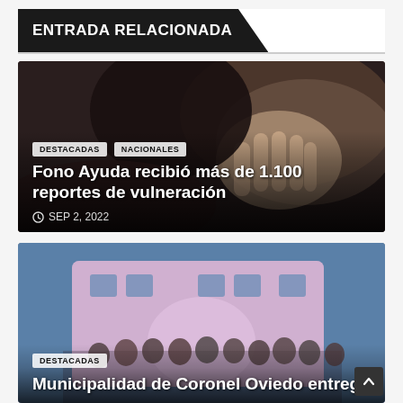ENTRADA RELACIONADA
[Figure (photo): Dark photo of a person with their face hidden behind their hand, suggesting distress or vulnerability.]
DESTACADAS   NACIONALES
Fono Ayuda recibió más de 1.100 reportes de vulneración
SEP 2, 2022
[Figure (photo): Group photo of people standing in front of a pink municipal building, the Municipalidad de Coronel Oviedo.]
DESTACADAS
Municipalidad de Coronel Oviedo entrega